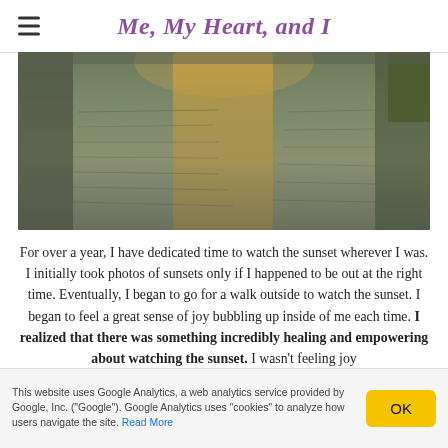Me, My Heart, and I
[Figure (photo): A sunset reflected on a wide flooded or calm river/road surface, with greenery on the far right edge and bridge/wall structures on the left.]
For over a year, I have dedicated time to watch the sunset wherever I was. I initially took photos of sunsets only if I happened to be out at the right time. Eventually, I began to go for a walk outside to watch the sunset. I began to feel a great sense of joy bubbling up inside of me each time. I realized that there was something incredibly healing and empowering about watching the sunset. I wasn't feeling joy
This website uses Google Analytics, a web analytics service provided by Google, Inc. ("Google"). Google Analytics uses "cookies" to analyze how users navigate the site. Read More